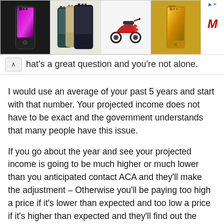[Figure (other): Advertisement banner showing iPhone 13 Pro devices in dark, group of colors, a red scooter, and gold iPhone, with a red M logo on the right side]
hat's a great question and you're not alone.
I would use an average of your past 5 years and start with that number. Your projected income does not have to be exact and the government understands that many people have this issue.
If you go about the year and see your projected income is going to be much higher or much lower than you anticipated contact ACA and they'll make the adjustment – Otherwise you'll be paying too high a price if it's lower than expected and too low a price if it's higher than expected and they'll find out the bottom line when you do your taxes in 2015.